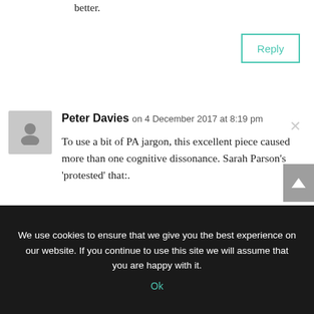better.
Reply
Peter Davies on 4 December 2017 at 8:19 pm
To use a bit of PA jargon, this excellent piece caused more than one cognitive dissonance. Sarah Parson’s ‘protested’ that:. “we are clear the developments will not result in any draconian approach or in us over stepping the mark in court. The impact will
We use cookies to ensure that we give you the best experience on our website. If you continue to use this site we will assume that you are happy with it. Ok